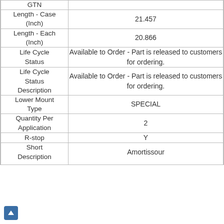| Attribute | Value |
| --- | --- |
| GTN |  |
| Length - Case (Inch) | 21.457 |
| Length - Each (Inch) | 20.866 |
| Life Cycle Status | Available to Order - Part is released to customers for ordering. |
| Life Cycle Status Description | Available to Order - Part is released to customers for ordering. |
| Lower Mount Type | SPECIAL |
| Quantity Per Application | 2 |
| R-stop | Y |
| Short Description | Amortissour... |